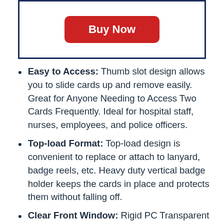[Figure (other): Buy Now button inside a dark navy border box]
Easy to Access: Thumb slot design allows you to slide cards up and remove easily. Great for Anyone Needing to Access Two Cards Frequently. Ideal for hospital staff, nurses, employees, and police officers.
Top-load Format: Top-load design is convenient to replace or attach to lanyard, badge reels, etc. Heavy duty vertical badge holder keeps the cards in place and protects them without falling off.
Clear Front Window: Rigid PC Transparent Material not only for viewing clearly, but for